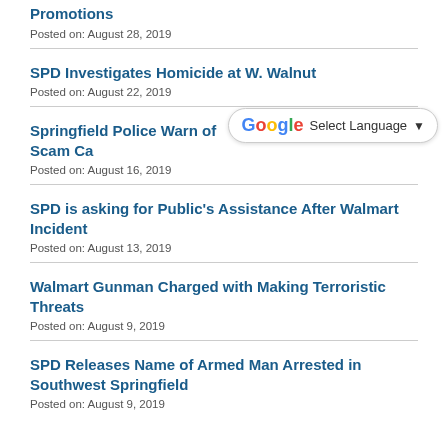Promotions
Posted on: August 28, 2019
SPD Investigates Homicide at W. Walnut
Posted on: August 22, 2019
Springfield Police Warn of Scam Ca…
Posted on: August 16, 2019
SPD is asking for Public's Assistance After Walmart Incident
Posted on: August 13, 2019
Walmart Gunman Charged with Making Terroristic Threats
Posted on: August 9, 2019
SPD Releases Name of Armed Man Arrested in Southwest Springfield
Posted on: August 9, 2019